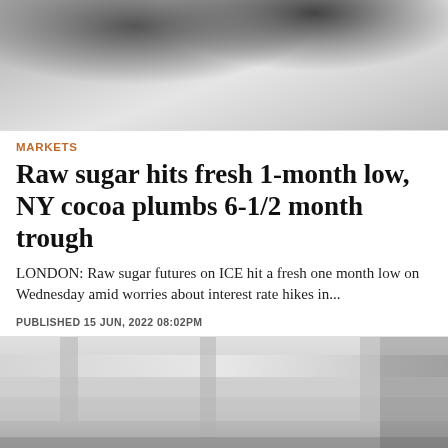[Figure (photo): Close-up photo of white granular sugar with dark background at top]
MARKETS
Raw sugar hits fresh 1-month low, NY cocoa plumbs 6-1/2 month trough
LONDON: Raw sugar futures on ICE hit a fresh one month low on Wednesday amid worries about interest rate hikes in...
PUBLISHED 15 JUN, 2022 08:02PM
[Figure (photo): Industrial equipment, metal beams and pipes in a factory or processing facility, grayscale]